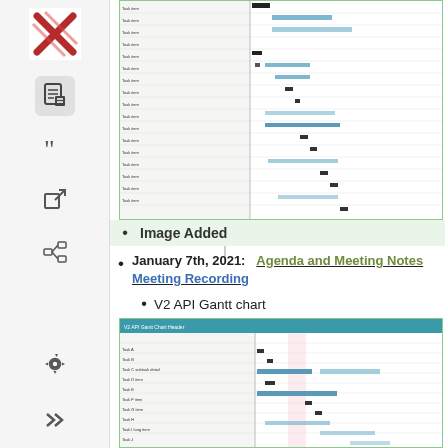[Figure (other): Top Gantt chart screenshot showing project schedule with tasks on left and timeline bars on right, green border]
Image Added
January 7th, 2021:   Agenda and Meeting Notes    Meeting Recording
V2 API Gantt chart
[Figure (other): Bottom Gantt chart screenshot showing V2 API project schedule with tasks on left and timeline bars on right, teal header row, green border]